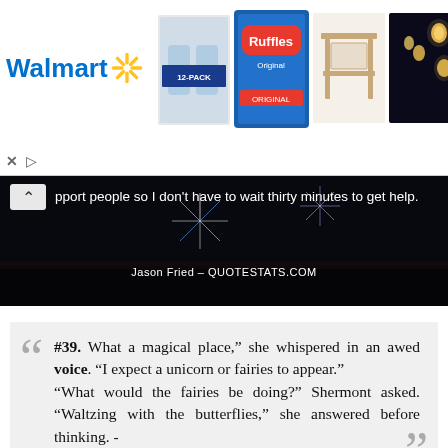[Figure (screenshot): Walmart advertisement banner showing Walmart logo with spark icon, product images including a 12-pack of water bottles, Ruffles Original chips bag, a wooden table/desk, and sky lanterns at night]
[Figure (screenshot): Dark background image with fireworks, showing a partial quote text overlay: 'pport people so I don't have to wait thirty minutes to get help.' attributed to Jason Fried - QUOTESTATS.COM, with a navigation arrow on the left]
#39. What a magical place," she whispered in an awed voice. "I expect a unicorn or fairies to appear." "What would the fairies be doing?" Shermont asked. "Waltzing with the butterflies," she answered before thinking. - Author: Laurie Brown